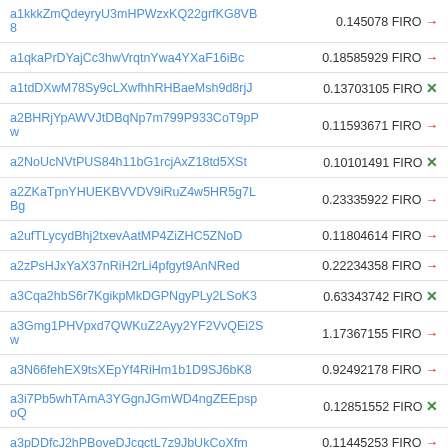| Address | Value | Currency | Icon |
| --- | --- | --- | --- |
| a1kkkZmQdeyryU3mHPWzxKQ22grfKG8VB8 | 0.145078 | FIRO | → |
| a1qkaPrDYajCc3hwVrqtnYwa4YXaF16iBc | 0.18585929 | FIRO | → |
| a1tdDXwM78Sy9cLXwfhhRHBaeMsh9d8rjJ | 0.13703105 | FIRO | × |
| a2BHRjYpAWVJtDBqNp7m799P933CoT9pPw | 0.11593671 | FIRO | → |
| a2NoUcNVtPUS84h11bG1rcjAxZ18td5XSt | 0.10101491 | FIRO | × |
| a2ZKaTpnYHUEKBVVDV9iRuZ4w5HR5g7LBg | 0.23335922 | FIRO | → |
| a2ufTLycydBhj2txevAatMP4ZiZHC5ZNoD | 0.11804614 | FIRO | → |
| a2zPsHJxYaX37nRiH2rLi4pfgyt9AnNRed | 0.22234358 | FIRO | → |
| a3Cqa2hbS6r7KgikpMkDGPNgyPLy2LSoK3 | 0.63343742 | FIRO | × |
| a3Gmg1PHVpxd7QWKuZ2Ayy2YF2VvQEi2Sw | 1.17367155 | FIRO | → |
| a3N66fehEX9tsXEpYf4RiHm1b1D9SJ6bK8 | 0.92492178 | FIRO | → |
| a3i7Pb5whTAmA3YGgnJGmWD4ngZEEpspoQ | 0.12851552 | FIRO | × |
| a3pDDfcJ2hPBoveDJcgctL7z9JbUkCoXfm | 0.11445253 | FIRO | → |
| a3sYmuKdRYQSvZ7RYycbcBXWMJFYR5VVYv | 0.1057806 | FIRO | × |
| a3z3ANo25r9gpi4J997dJThTZmwYXqLTAq | 0.18203118 | FIRO | × |